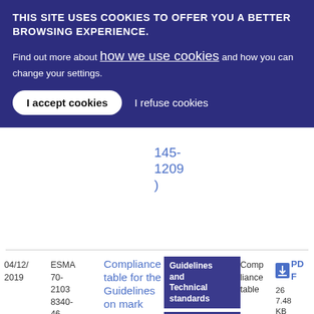THIS SITE USES COOKIES TO OFFER YOU A BETTER BROWSING EXPERIENCE.
Find out more about how we use cookies and how you can change your settings.
I accept cookies
I refuse cookies
145-12209)
04/12/2019
ESMA70-21038340-46
Compliance table for the Guidelines on mark
Guidelines and Technical standards
Market Integrity
Short Selling
Compliance table
PDF 267.48 KB